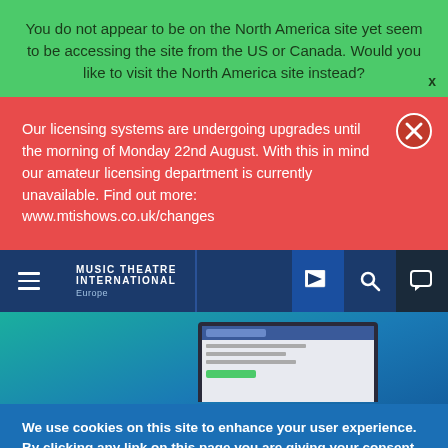You do not appear to be on the North America site yet seem to be accessing the site from the US or Canada. Would you like to visit the North America site instead?
Our licensing systems are undergoing upgrades until the morning of Monday 22nd August. With this in mind our amateur licensing department is currently unavailable. Find out more: www.mtishows.co.uk/changes
[Figure (screenshot): Music Theatre International Europe navigation bar with menu icon, brand name, flag icon, search icon, and chat icon]
[Figure (screenshot): Hero section with teal-to-blue gradient background and a laptop screenshot]
We use cookies on this site to enhance your user experience. By clicking any link on this page you are giving your consent for us to set cookies. More info
OK, I agree